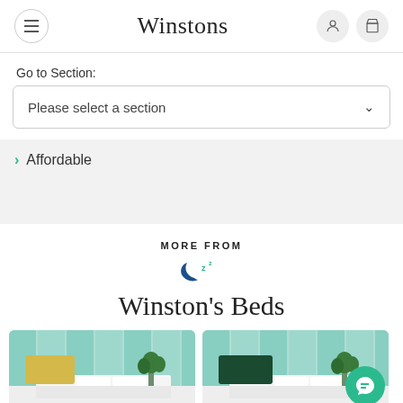Winstons
Go to Section:
Please select a section
Affordable
MORE FROM
Winston's Beds
[Figure (photo): Two bed product photos side-by-side: left shows a yellow headboard bed with white bedding and plants, right shows a dark green headboard bed with white bedding and plants. A teal chat bubble icon overlays the bottom-right.]